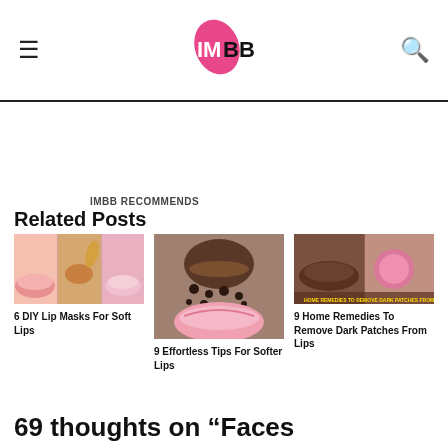IMBB
IMBB RECOMMENDS
Related Posts
[Figure (photo): Thumbnail collage showing lip care images for article about 6 DIY Lip Masks For Soft Lips]
6 DIY Lip Masks For Soft Lips
[Figure (photo): Thumbnail showing lip scrub with coffee grounds and pink lips for article about 9 Effortless Tips For Softer Lips]
9 Effortless Tips For Softer Lips
[Figure (photo): Thumbnail showing dark lips and home remedies for article about 9 Home Remedies To Remove Dark Patches From Lips]
9 Home Remedies To Remove Dark Patches From Lips
69 thoughts on “Faces